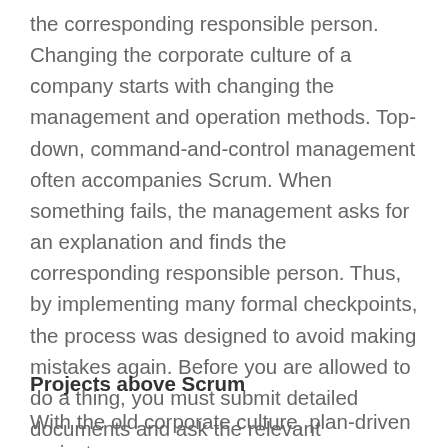the corresponding responsible person. Changing the corporate culture of a company starts with changing the management and operation methods. Top-down, command-and-control management often accompanies Scrum. When something fails, the management asks for an explanation and finds the corresponding responsible person. Thus, by implementing many formal checkpoints, the process was designed to avoid making mistakes again. Before you are allowed to do a thing, you must submit detailed documents and ask the relevant department to stamp them for approval. Because employees are not encouraged to cross these boundaries, innovation and agility are also stifled.
Projects above Scrum
With the old corporate culture, plan-driven project